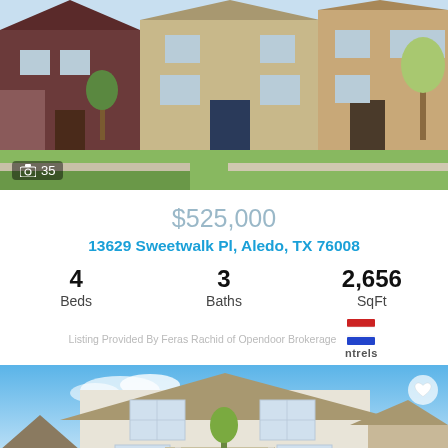[Figure (photo): Exterior photo of suburban houses with green lawns and clear sky]
📷 35
$525,000
13629 Sweetwalk Pl, Aledo, TX 76008
4 Beds  3 Baths  2,656 SqFt
Listing Provided By Feras Rachid of Opendoor Brokerage ntrels
[Figure (photo): Exterior photo of a two-story house with beige siding and a small tree in front]